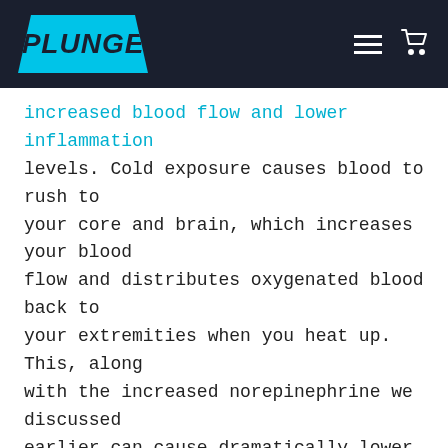PLUNGE
increased blood flow and lower inflammation levels. Cold exposure causes blood to rush to your core and brain, which increases your blood flow and distributes oxygenated blood back to your extremities when you heat up. This, along with the increased norepinephrine we discussed earlier can cause dramatically lower inflammation levels. This has cascading benefits throughout the body, as inflammation is the key driver of the aging process.
#4 – DISCIPLINE
Discipline is the path to freedom and